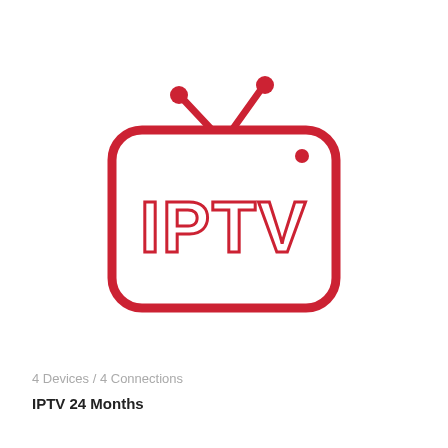[Figure (logo): IPTV logo: a red rounded-rectangle TV set outline with two antennae and the text IPTV inside]
4 Devices / 4 Connections
IPTV 24 Months